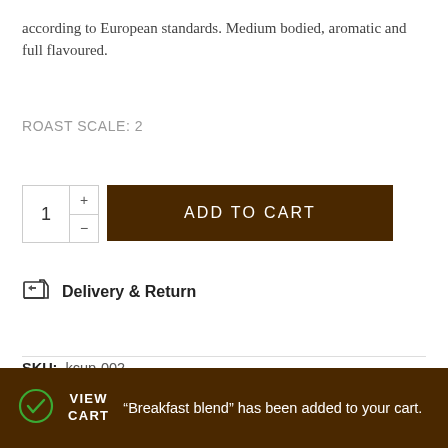according to European standards. Medium bodied, aromatic and full flavoured.
ROAST SCALE: 2
ADD TO CART
Delivery & Return
SKU:  kcup-002
Category:  Keurig K-Cup
“Breakfast blend” has been added to your cart.